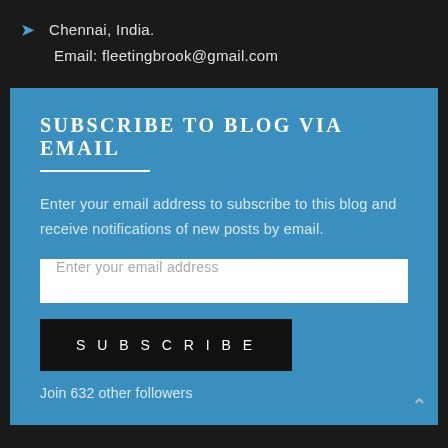Chennai, India.
Email: fleetingbrook@gmail.com
SUBSCRIBE TO BLOG VIA EMAIL
Enter your email address to subscribe to this blog and receive notifications of new posts by email.
Enter your email address
SUBSCRIBE
Join 632 other followers